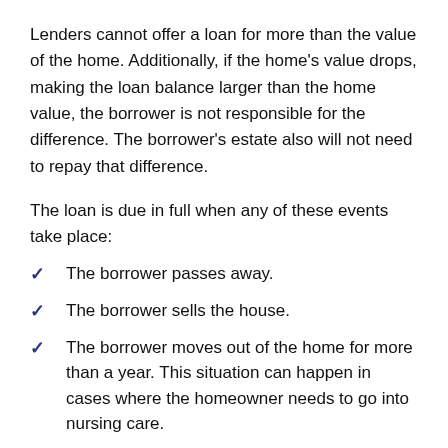Lenders cannot offer a loan for more than the value of the home. Additionally, if the home's value drops, making the loan balance larger than the home value, the borrower is not responsible for the difference. The borrower's estate also will not need to repay that difference.
The loan is due in full when any of these events take place:
The borrower passes away.
The borrower sells the house.
The borrower moves out of the home for more than a year. This situation can happen in cases where the homeowner needs to go into nursing care.
Typically, the heirs or the estate sell the home to repay the loan. In some instances, the estate or heirs may